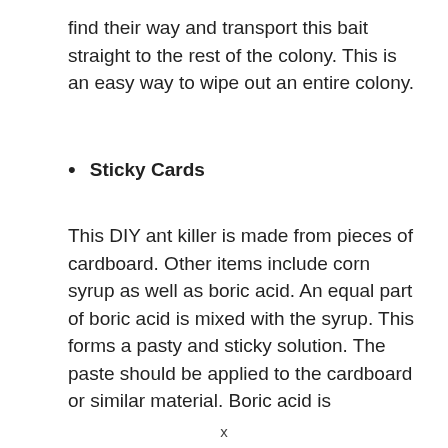find their way and transport this bait straight to the rest of the colony. This is an easy way to wipe out an entire colony.
Sticky Cards
This DIY ant killer is made from pieces of cardboard. Other items include corn syrup as well as boric acid. An equal part of boric acid is mixed with the syrup. This forms a pasty and sticky solution. The paste should be applied to the cardboard or similar material. Boric acid is
x